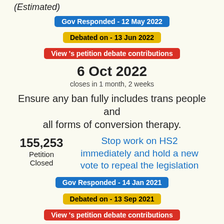(Estimated)
Gov Responded - 12 May 2022
Debated on - 13 Jun 2022
View 's petition debate contributions
6 Oct 2022
closes in 1 month, 2 weeks
Ensure any ban fully includes trans people and all forms of conversion therapy.
155,253
Petition Closed
Stop work on HS2 immediately and hold a new vote to repeal the legislation
Gov Responded - 14 Jan 2021
Debated on - 13 Sep 2021
View 's petition debate contributions
17 Jun 2021
closed 1 year, 2 months ago
We ask Parliament to repeal the High Speed Rail Bills, 2016 and 2019, as MPs voted on